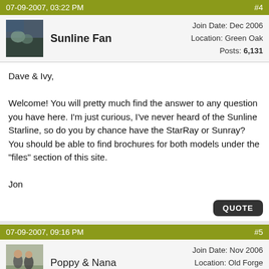07-09-2007, 03:22 PM  #4
Sunline Fan  Join Date: Dec 2006  Location: Green Oak  Posts: 6,131
Dave & Ivy,

Welcome! You will pretty much find the answer to any question you have here. I'm just curious, I've never heard of the Sunline Starline, so do you by chance have the StarRay or Sunray? You should be able to find brochures for both models under the "files" section of this site.

Jon
07-09-2007, 09:16 PM  #5
Poppy & Nana  Join Date: Nov 2006  Location: Old Forge  Posts: 2,909
Welcome to "our family"!